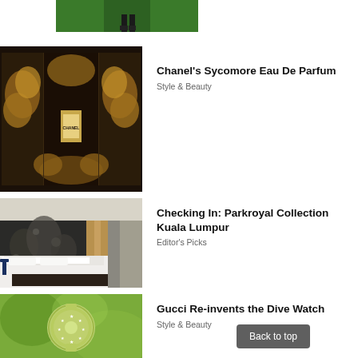[Figure (photo): Partial image at top of page showing a person in green outfit on a green background, cropped]
[Figure (photo): Chanel Sycomore Eau De Parfum in an ornate dark display case with golden floral arrangement]
Chanel’s Sycomore Eau De Parfum
Style & Beauty
[Figure (photo): Hotel room at Parkroyal Collection Kuala Lumpur with a large bed, dark floral wall mural and wooden accents]
Checking In: Parkroyal Collection Kuala Lumpur
Editor’s Picks
[Figure (photo): Gucci dive watch with green translucent case and stars on dial, on a blurred green background]
Gucci Re-invents the Dive Watch
Style & Beauty
Back to top